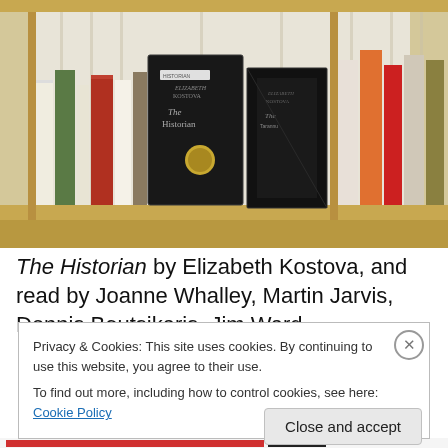[Figure (photo): Photograph of library shelves showing books and DVD/audio cases. In the center is a dark black case for 'The Historian' by Elizabeth Kostova, with another open dark case beside it. Colorful books are visible on the left and right shelves.]
The Historian by Elizabeth Kostova, and read by Joanne Whalley, Martin Jarvis, Dennis Boutsikaris, Jim Ward
Privacy & Cookies: This site uses cookies. By continuing to use this website, you agree to their use.
To find out more, including how to control cookies, see here: Cookie Policy
Close and accept